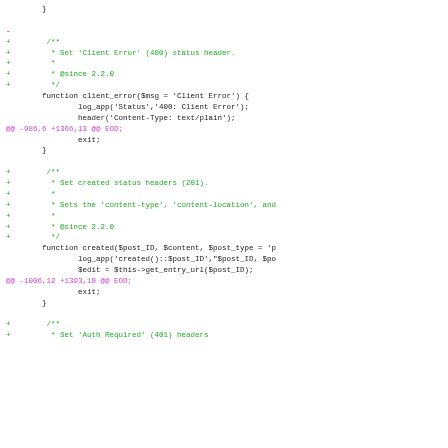Code diff showing PHP functions: client_error and created, with @@ hunk headers at -986,6 +1366,13 and -1006,12 +1393,19
[Figure (screenshot): A code diff view showing added and removed lines in a PHP file. Green lines prefixed with '+' show added JSDoc comments and function bodies. A red '-' line shows a removed line. Magenta lines show @@ diff hunk headers.]